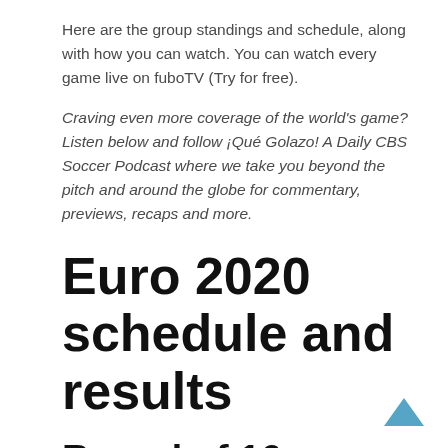Here are the group standings and schedule, along with how you can watch. You can watch every game live on fuboTV (Try for free).
Craving even more coverage of the world’s game? Listen below and follow ¡Qué Golazo! A Daily CBS Soccer Podcast where we take you beyond the pitch and around the globe for commentary, previews, recaps and more.
Euro 2020 schedule and results
Round of 16
June 26
Wales 0, Denmark 4